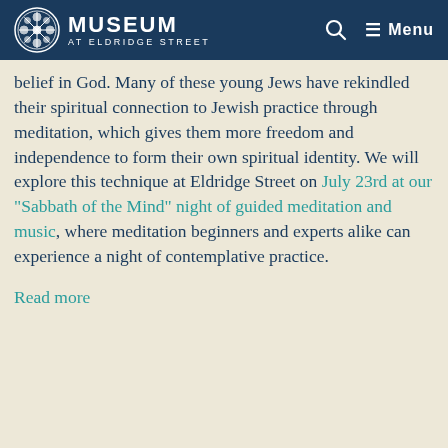Museum at Eldridge Street — Menu
belief in God. Many of these young Jews have rekindled their spiritual connection to Jewish practice through meditation, which gives them more freedom and independence to form their own spiritual identity. We will explore this technique at Eldridge Street on July 23rd at our “Sabbath of the Mind” night of guided meditation and music, where meditation beginners and experts alike can experience a night of contemplative practice.
Read more